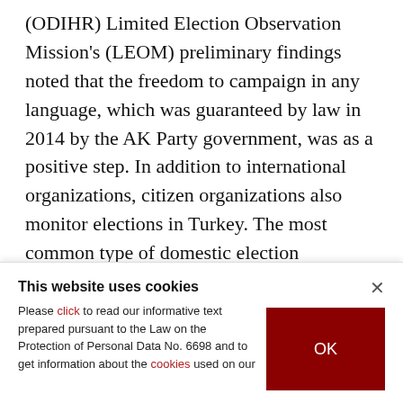(ODIHR) Limited Election Observation Mission's (LEOM) preliminary findings noted that the freedom to campaign in any language, which was guaranteed by law in 2014 by the AK Party government, was as a positive step. In addition to international organizations, citizen organizations also monitor elections in Turkey. The most common type of domestic election monitoring comes by way of poll watchers who are party members that are looking out for the interests of
This website uses cookies
Please click to read our informative text prepared pursuant to the Law on the Protection of Personal Data No. 6698 and to get information about the cookies used on our